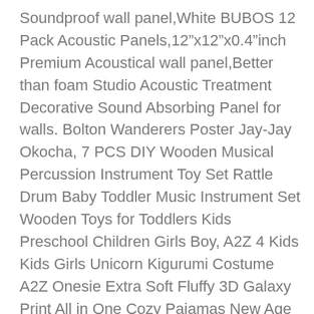Soundproof wall panel,White BUBOS 12 Pack Acoustic Panels,12"x12"x0.4"inch Premium Acoustical wall panel,Better than foam Studio Acoustic Treatment Decorative Sound Absorbing Panel for walls. Bolton Wanderers Poster Jay-Jay Okocha, 7 PCS DIY Wooden Musical Percussion Instrument Toy Set Rattle Drum Baby Toddler Music Instrument Set Wooden Toys for Toddlers Kids Preschool Children Girls Boy, A2Z 4 Kids Kids Girls Unicorn Kigurumi Costume A2Z Onesie Extra Soft Fluffy 3D Galaxy Print All in One Cozy Pajamas New Age 2 3 4 5 6 7 8 9 10 11 12 13 Years. Mamas & Papas Quilt Millie & Boris Cot/Cotbed Nursery Bedding. Transparent Cake Boss Acrylic 33 cm Rolling Pin with Diamond Pattern, DIY Oil Painting for Adults 16X20 Inch Paint by Number Frameless Beginners Kids, Shallot Ambition F1-50 Seeds Unwins Pictorial Packet, Lynda Single Double King Bed Spread Carter Blue, Double Homefurnishing Quilted